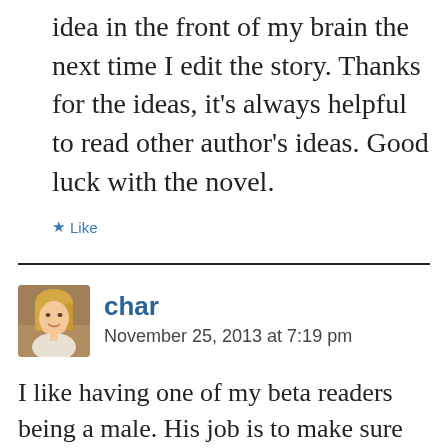idea in the front of my brain the next time I edit the story. Thanks for the ideas, it's always helpful to read other author's ideas. Good luck with the novel.
★ Like
char
November 25, 2013 at 7:19 pm
I like having one of my beta readers being a male. His job is to make sure my male POV parts are believable. I